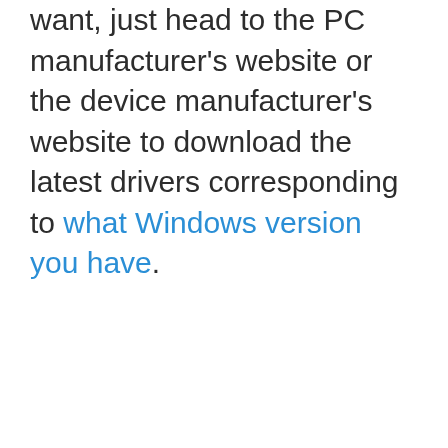want, just head to the PC manufacturer's website or the device manufacturer's website to download the latest drivers corresponding to what Windows version you have.